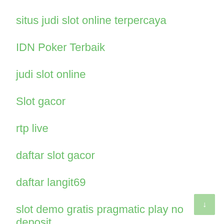situs judi slot online terpercaya
IDN Poker Terbaik
judi slot online
Slot gacor
rtp live
daftar slot gacor
daftar langit69
slot demo gratis pragmatic play no deposit